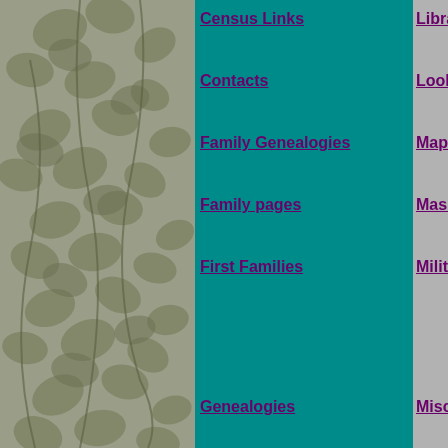Census Links
Contacts
Family Genealogies
Family pages
First Families
Genealogies
Guest Book
Libraries
Look-ups (Help)
Maps
Massacre
Military
Miscellaneous
Windham County Homepage
Expanded Index ~~ Will be d
Search this site
Match: All  Format: Long  Sort by: Score
Search:  [Search]